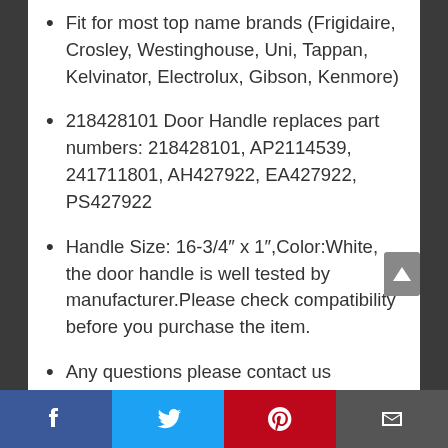Fit for most top name brands (Frigidaire, Crosley, Westinghouse, Uni, Tappan, Kelvinator, Electrolux, Gibson, Kenmore)
218428101 Door Handle replaces part numbers: 218428101, AP2114539, 241711801, AH427922, EA427922, PS427922
Handle Size: 16-3/4″ x 1″,Color:White, the door handle is well tested by manufacturer.Please check compatibility before you purchase the item.
Any questions please contact us